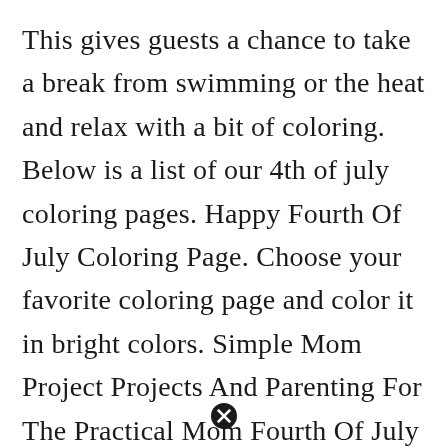This gives guests a chance to take a break from swimming or the heat and relax with a bit of coloring. Below is a list of our 4th of july coloring pages. Happy Fourth Of July Coloring Page. Choose your favorite coloring page and color it in bright colors. Simple Mom Project Projects And Parenting For The Practical Mom Fourth Of July Crafts For Kids Coloring Pages Kindergarten Coloring Pages.
[Figure (other): A circled X icon (close/cancel button) centered at the bottom of the page]